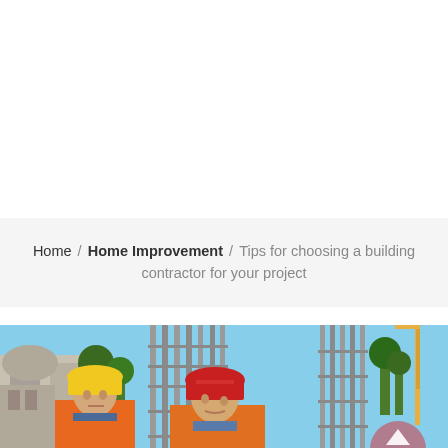Home / Home Improvement / Tips for choosing a building contractor for your project
[Figure (photo): Two construction workers wearing hard hats (one yellow, one red) and orange high-visibility vests at a building construction site. Steel rebar columns and cranes visible in the background. A 'TOP' button overlay appears in the lower right corner.]